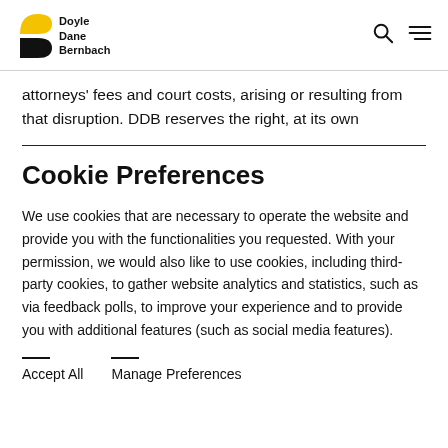Doyle Dane Bernbach
attorneys' fees and court costs, arising or resulting from that disruption. DDB reserves the right, at its own
Cookie Preferences
We use cookies that are necessary to operate the website and provide you with the functionalities you requested. With your permission, we would also like to use cookies, including third-party cookies, to gather website analytics and statistics, such as via feedback polls, to improve your experience and to provide you with additional features (such as social media features).
Accept All
Manage Preferences